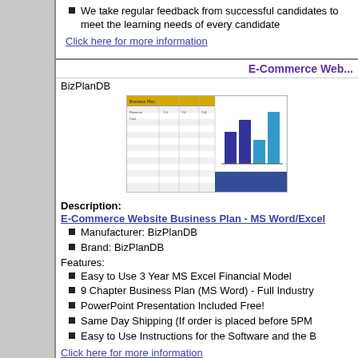We take regular feedback from successful candidates to meet the learning needs of every candidate
Click here for more information
E-Commerce Web...
BizPlanDB
[Figure (screenshot): Screenshot of E-Commerce Website Business Plan spreadsheet and bar chart]
Description:
E-Commerce Website Business Plan - MS Word/Excel
Manufacturer: BizPlanDB
Brand: BizPlanDB
Features:
Easy to Use 3 Year MS Excel Financial Model
9 Chapter Business Plan (MS Word) - Full Industry
PowerPoint Presentation Included Free!
Same Day Shipping (If order is placed before 5PM
Easy to Use Instructions for the Software and the B
Click here for more information
E-Commerce Website Business Plan...